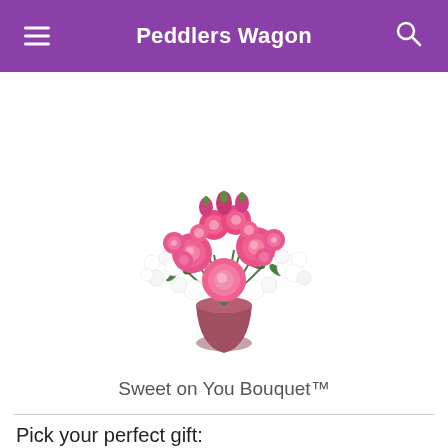Peddlers Wagon
[Figure (photo): A bouquet of pink roses with white filler flowers in a dark pink/mauve ceramic vase, shown against a white background. The arrangement features large pink roses and smaller spray roses mixed with white stock flowers and green foliage.]
Sweet on You Bouquet™
Pick your perfect gift: